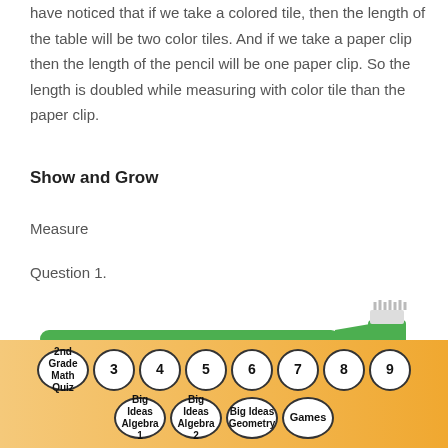have noticed that if we take a colored tile, then the length of the table will be two color tiles. And if we take a paper clip then the length of the pencil will be one paper clip. So the length is doubled while measuring with color tile than the paper clip.
Show and Grow
Measure
Question 1.
[Figure (illustration): Green toothbrush with white bristles at the right end, shown above a horizontal measurement line with end markers.]
2nd Grade Math Quiz  3  4  5  6  7  8  9  Big Ideas Algebra 1  Big Ideas Algebra 2  Big Ideas Geometry  Games